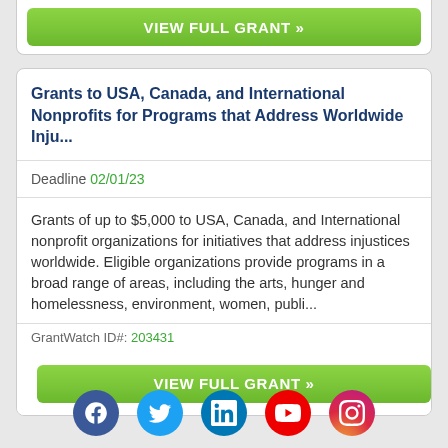[Figure (other): Green VIEW FULL GRANT button at top of page (partial card)]
Grants to USA, Canada, and International Nonprofits for Programs that Address Worldwide Inju...
Deadline 02/01/23
Grants of up to $5,000 to USA, Canada, and International nonprofit organizations for initiatives that address injustices worldwide. Eligible organizations provide programs in a broad range of areas, including the arts, hunger and homelessness, environment, women, publi...
GrantWatch ID#: 203431
[Figure (other): Green VIEW FULL GRANT button]
[Figure (other): Social media icons row: Facebook, Twitter, LinkedIn, YouTube, Instagram]